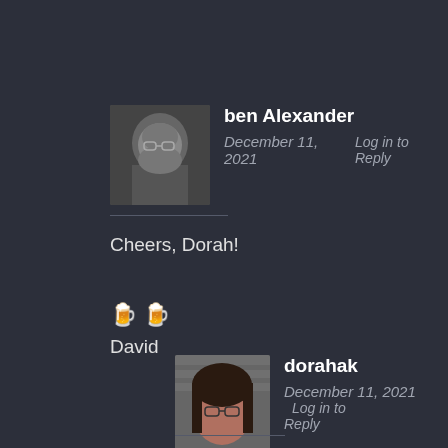[Figure (photo): Profile photo of ben Alexander, a man with beard and glasses, black and white]
ben Alexander
December 11, 2021    Log in to Reply
Cheers, Dorah!

🍺 🍺
David
[Figure (photo): Profile photo of dorahak, a woman with glasses and dark hair]
dorahak
December 11, 2021    Log in to Reply